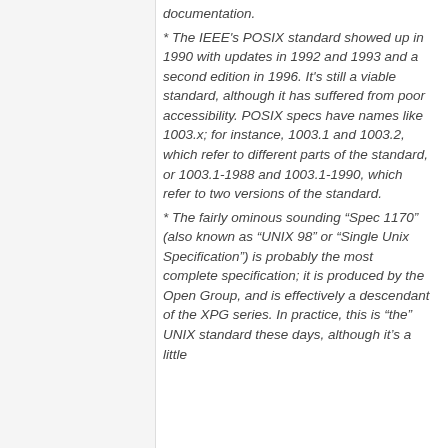documentation.
* The IEEE's POSIX standard showed up in 1990 with updates in 1992 and 1993 and a second edition in 1996. It's still a viable standard, although it has suffered from poor accessibility. POSIX specs have names like 1003.x; for instance, 1003.1 and 1003.2, which refer to different parts of the standard, or 1003.1-1988 and 1003.1-1990, which refer to two versions of the standard.
* The fairly ominous sounding “Spec 1170” (also known as “UNIX 98” or “Single Unix Specification”) is probably the most complete specification; it is produced by the Open Group, and is effectively a descendant of the XPG series. In practice, this is “the” UNIX standard these days, although it’s a little